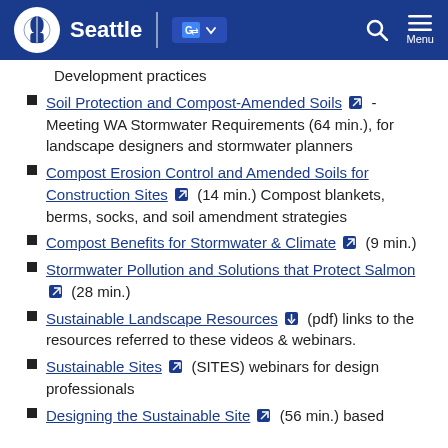Seattle
Development practices
Soil Protection and Compost-Amended Soils [external link] - Meeting WA Stormwater Requirements (64 min.), for landscape designers and stormwater planners
Compost Erosion Control and Amended Soils for Construction Sites [external link] (14 min.) Compost blankets, berms, socks, and soil amendment strategies
Compost Benefits for Stormwater & Climate [external link] (9 min.)
Stormwater Pollution and Solutions that Protect Salmon [external link] (28 min.)
Sustainable Landscape Resources [download] (pdf) links to the resources referred to these videos & webinars.
Sustainable Sites [external link] (SITES) webinars for design professionals
Designing the Sustainable Site [external link] (56 min.) based